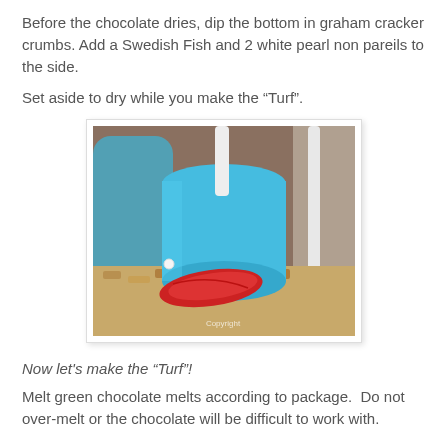Before the chocolate dries, dip the bottom in graham cracker crumbs. Add a Swedish Fish and 2 white pearl non pareils to the side.
Set aside to dry while you make the "Turf".
[Figure (photo): Close-up photo of a dessert treat: a cylindrical shape dipped in blue chocolate coating with a white stick on top, sitting on a graham cracker crumb base with a red Swedish Fish candy on the side. Multiple similar treats are visible in the background.]
Now let's make the "Turf"!
Melt green chocolate melts according to package.  Do not over-melt or the chocolate will be difficult to work with.